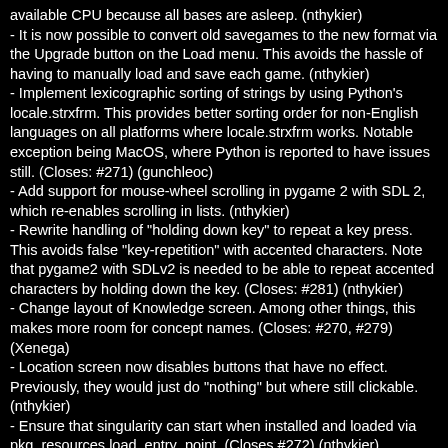available CPU because all bases are asleep. (nthykier)
- It is now possible to convert old savegames to the new format via the Upgrade button on the Load menu. This avoids the hassle of having to manually load and save each game. (nthykier)
- Implement lexicographic sorting of strings by using Python's locale.strxfrm. This provides better sorting order for non-English languages on all platforms where locale.strxfrm works. Notable exception being MacOS, where Python is reported to have issues still. (Closes: #271) (gunchleoc)
- Add support for mouse-wheel scrolling in pygame 2 with SDL 2, which re-enables scrolling in lists. (nthykier)
- Rewrite handling of "holding down key" to repeat a key press. This avoids false "key-repetition" with accented characters. Note that pygame2 with SDLv2 is needed to be able to repeat accented characters by holding down the key. (Closes: #281) (nthykier)
- Change layout of Knowledge screen. Among other things, this makes more room for concept names. (Closes: #270, #279) (Xenega)
- Location screen now disables buttons that have no effect. Previously, they would just do "nothing" but where still clickable. (nthykier)
- Ensure that singularity can start when installed and loaded via pkg_resources.load_entry_point. (Closes #272) (nthykier)
- Improve savegame dialog to use a translated version of the difficulty as default savegame and reject some invalid path names